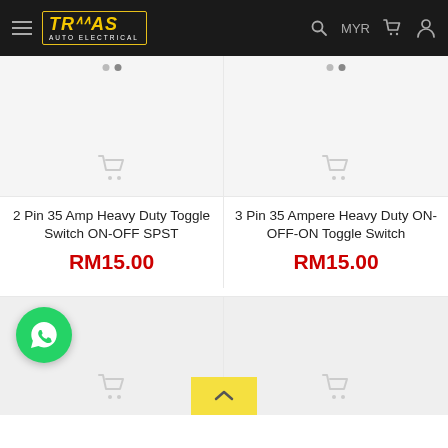TRIMAS AUTO ELECTRICAL — MYR
[Figure (other): Product image placeholder for 2 Pin 35 Amp Heavy Duty Toggle Switch ON-OFF SPST]
2 Pin 35 Amp Heavy Duty Toggle Switch ON-OFF SPST
RM15.00
[Figure (other): Product image placeholder for 3 Pin 35 Ampere Heavy Duty ON-OFF-ON Toggle Switch]
3 Pin 35 Ampere Heavy Duty ON-OFF-ON Toggle Switch
RM15.00
[Figure (other): Bottom product card left — partial view]
[Figure (other): Bottom product card right — partial view]